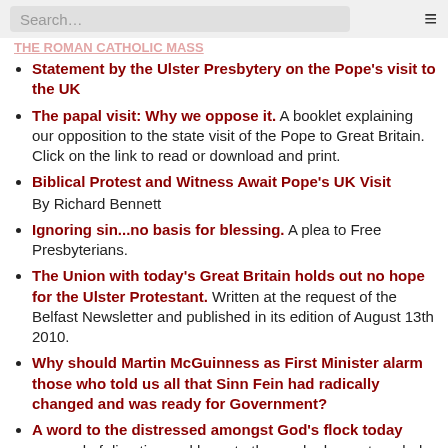Search…
Statement by the Ulster Presbytery on the Pope's visit to the UK
The papal visit: Why we oppose it. A booklet explaining our opposition to the state visit of the Pope to Great Britain. Click on the link to read or download and print.
Biblical Protest and Witness Await Pope's UK Visit By Richard Bennett
Ignoring sin...no basis for blessing. A plea to Free Presbyterians.
The Union with today's Great Britain holds out no hope for the Ulster Protestant. Written at the request of the Belfast Newsletter and published in its edition of August 13th 2010.
Why should Martin McGuinness as First Minister alarm those who told us all that Sinn Fein had radically changed and was ready for Government?
A word to the distressed amongst God's flock today - a word of direction and hope to those who have struggled with the deep disappointment and sense of betrayal they have suffered and the despondency which has settled into many a Free Presbyterian heart